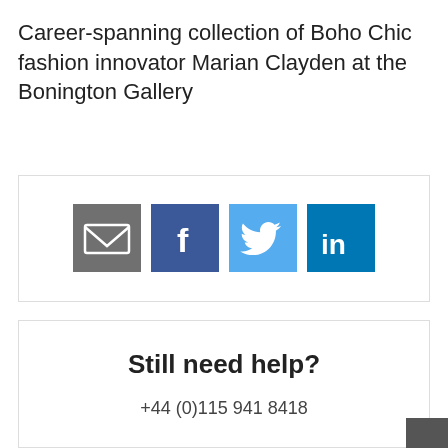Career-spanning collection of Boho Chic fashion innovator Marian Clayden at the Bonington Gallery
[Figure (infographic): Social sharing icons: email (grey), Facebook (dark blue), Twitter (light blue), LinkedIn (dark blue)]
Still need help?
+44 (0)115 941 8418